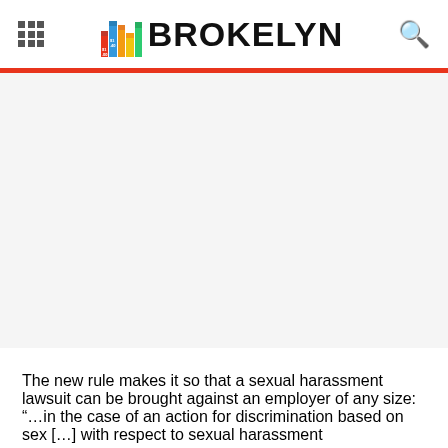BROKELYN
[Figure (other): Advertisement/blank content area below header]
The new rule makes it so that a sexual harassment lawsuit can be brought against an employer of any size: “…in the case of an action for discrimination based on sex […] with respect to sexual harassment